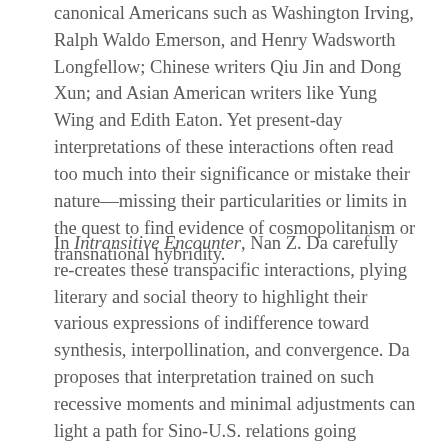canonical Americans such as Washington Irving, Ralph Waldo Emerson, and Henry Wadsworth Longfellow; Chinese writers Qiu Jin and Dong Xun; and Asian American writers like Yung Wing and Edith Eaton. Yet present-day interpretations of these interactions often read too much into their significance or mistake their nature—missing their particularities or limits in the quest to find evidence of cosmopolitanism or transnational hybridity.
In Intransitive Encounter, Nan Z. Da carefully re-creates these transpacific interactions, plying literary and social theory to highlight their various expressions of indifference toward synthesis, interpollination, and convergence. Da proposes that interpretation trained on such recessive moments and minimal adjustments can light a path for Sino-U.S. relations going forward—offering neither a geopolitical showdown nor a celebration of hybridity but the possibility of self-contained cross-cultural encounters that do not